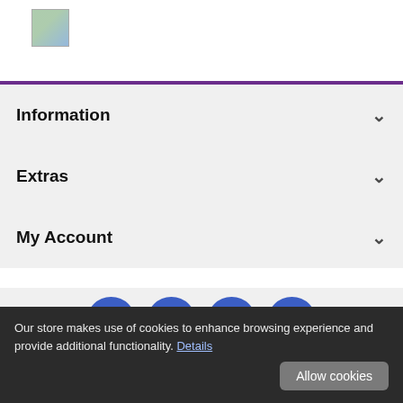[Figure (logo): Broken image placeholder logo in top left header]
Information
Extras
My Account
[Figure (infographic): Social media icons: Facebook, Twitter, YouTube, Instagram (blue circles), followed by payment method icons: Discover, Mastercard, PayPal, Visa]
Hard To Find Party Supplies © 2022
Our store makes use of cookies to enhance browsing experience and provide additional functionality. Details
Allow cookies